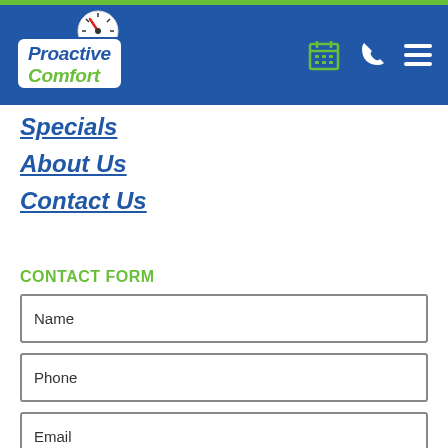[Figure (logo): Proactive Comfort Plumbing Heating Cooling logo with gauge icon, white box on blue header background]
Specials
About Us
Contact Us
CONTACT FORM
Name
Phone
Email